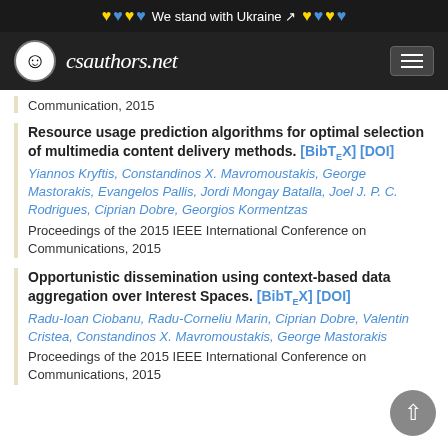We stand with Ukraine
csauthors.net
Communication, 2015
Resource usage prediction algorithms for optimal selection of multimedia content delivery methods. [BibTeX] [DOI]
Yiannos Kryftis, Constandinos X. Mavromoustakis, George Mastorakis, Evangelos Pallis, Jordi Mongay Batalla, Joel J. P. C. Rodrigues, Ciprian Dobre, Georgios Kormentzas
Proceedings of the 2015 IEEE International Conference on Communications, 2015
Opportunistic dissemination using context-based data aggregation over Interest Spaces. [BibTeX] [DOI]
Radu-Ioan Ciobanu, Radu-Corneliu Marin, Ciprian Dobre, Valentin Cristea, Constandinos X. Mavromoustakis, George Mastorakis
Proceedings of the 2015 IEEE International Conference on Communications, 2015